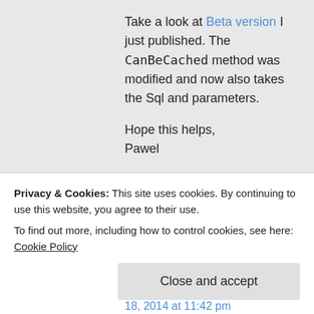Take a look at Beta version I just published. The CanBeCached method was modified and now also takes the Sql and parameters.

Hope this helps,
Pawel
Privacy & Cookies: This site uses cookies. By continuing to use this website, you agree to their use.
To find out more, including how to control cookies, see here: Cookie Policy
Close and accept
18, 2014 at 11:42 pm